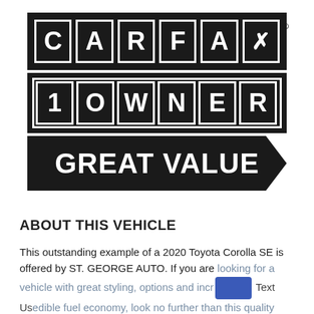[Figure (logo): CARFAX 1 OWNER GREAT VALUE logo — black tile letters spelling CARFAX on top row, 1 OWNER on second row, and a black arrow-shaped banner reading GREAT VALUE below]
ABOUT THIS VEHICLE
This outstanding example of a 2020 Toyota Corolla SE is offered by ST. GEORGE AUTO. If you are looking for a vehicle with great styling, options and incredible fuel economy, look no further than this quality automobile. The incredibly low mileage and painstaking upkeep on this